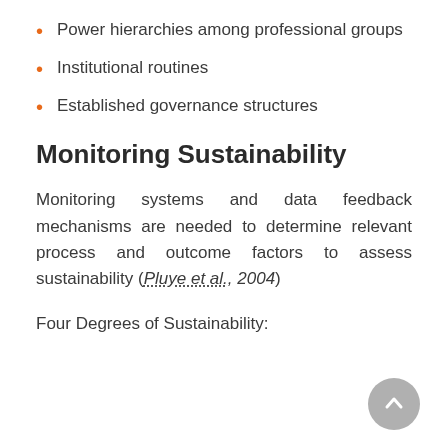Power hierarchies among professional groups
Institutional routines
Established governance structures
Monitoring Sustainability
Monitoring systems and data feedback mechanisms are needed to determine relevant process and outcome factors to assess sustainability (Pluye et al., 2004)
Four Degrees of Sustainability: